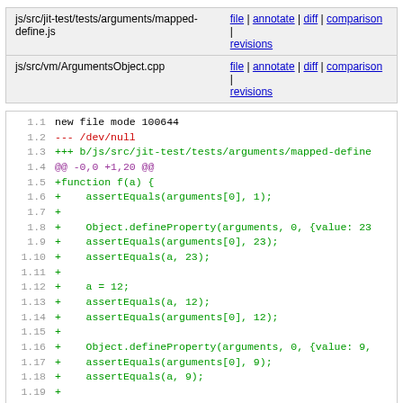| File | Links |
| --- | --- |
| js/src/jit-test/tests/arguments/mapped-define.js | file | annotate | diff | comparison | revisions |
| js/src/vm/ArgumentsObject.cpp | file | annotate | diff | comparison | revisions |
1.1  new file mode 100644
1.2  --- /dev/null
1.3  +++ b/js/src/jit-test/tests/arguments/mapped-define
1.4  @@ -0,0 +1,20 @@
1.5  +function f(a) {
1.6  +    assertEquals(arguments[0], 1);
1.7  +
1.8  +    Object.defineProperty(arguments, 0, {value: 23
1.9  +    assertEquals(arguments[0], 23);
1.10 +    assertEquals(a, 23);
1.11 +
1.12 +    a = 12;
1.13 +    assertEquals(a, 12);
1.14 +    assertEquals(arguments[0], 12);
1.15 +
1.16 +    Object.defineProperty(arguments, 0, {value: 9,
1.17 +    assertEquals(arguments[0], 9);
1.18 +    assertEquals(a, 9);
1.19 +
1.20 +    a = 4;
1.21 +    assertEquals(arguments[0], 9);
1.22 +    assertEquals(a, 4);
1.23 +}
1.24 +f(1);